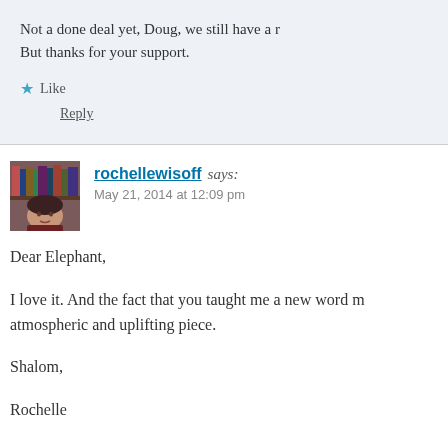Not a done deal yet, Doug, we still have a m… But thanks for your support.
★ Like
Reply
rochellewisoff says: May 21, 2014 at 12:09 pm
Dear Elephant,
I love it. And the fact that you taught me a new word m… atmospheric and uplifting piece.
Shalom,
Rochelle